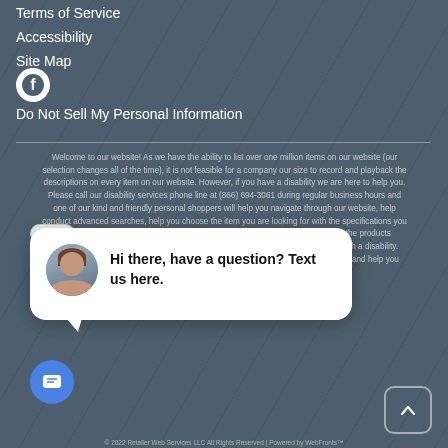Terms of Service
Accessibility
Site Map
[Figure (logo): Facebook logo icon - white circle with f]
Do Not Sell My Personal Information
Welcome to our website! As we have the ability to list over one million items on our website (our selection changes all of the time), it is not feasible for a company our size to record and playback the descriptions on every item on our website. However, if you have a disability we are here to help you. Please call our disability services phone line at (866) 694-3061 during regular business hours and one of our kind and friendly personal shoppers will help you navigate through our website, help conduct advanced searches, help you choose the item you are looking for with the specifications you are seeking, read you the specifications of any item and consult with you about the products themselves. There is no charge for the help of this personal shopper for anyone with a disability. Finally, your personal shopper will explain our Privacy Policy and Terms of Service, and help you place an order if you so desire.
[Figure (screenshot): Chat widget popup with avatar of woman and text: Hi there, have a question? Text us here.]
[Figure (other): Close button]
[Figure (other): Chat launcher button - blue circle with message icon]
[Figure (other): Scroll to top button - rounded square with up arrow]
© 2022 Retailer Web Services LLC All Rights Reserved | Powered by WebFronts™